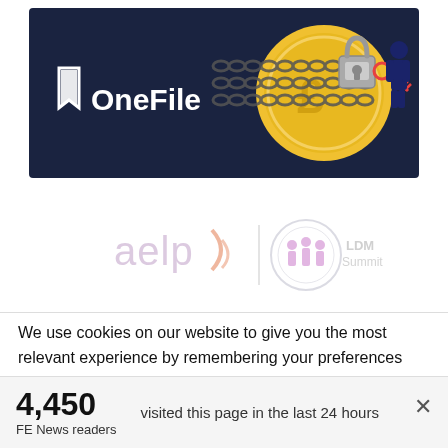[Figure (illustration): OneFile branded banner advertisement with dark navy background, showing the OneFile logo (white text with arrow icon) on the left and a golden coin/padlock security illustration with a businessman on the right. Linked by chain motifs.]
[Figure (logo): Sponsor logos area showing 'aelp' text logo with orange bracket symbol and a circular 'iii' LDM Summit logo, both faded/watermarked in appearance.]
We use cookies on our website to give you the most relevant experience by remembering your preferences and repeat visits. By clicking “Accept”, you consent to the use of ALL the cookies. However you may visit Cookie
4,450
FE News readers
visited this page in the last 24 hours